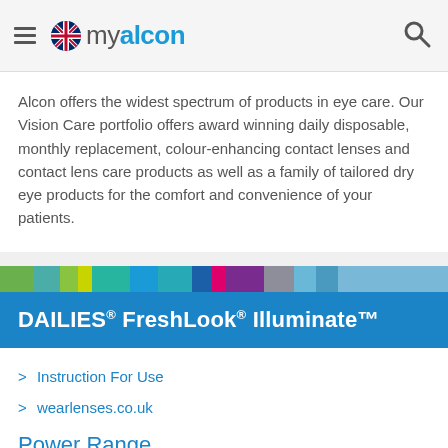my alcon
Alcon offers the widest spectrum of products in eye care. Our Vision Care portfolio offers award winning daily disposable, monthly replacement, colour-enhancing contact lenses and contact lens care products as well as a family of tailored dry eye products for the comfort and convenience of your patients.
[Figure (illustration): Decorative colour strip bar with segments of green, teal, yellow, light teal, blue, navy, pink/magenta, purple, grey, light blue]
DAILIES® FreshLook® Illuminate™
Instruction For Use
wearlenses.co.uk
wearlenses.ie
Power Range
Plano to -6.00 (0.25D) (Excluding -0.25)
-6.50 to -8.00(0.50D)